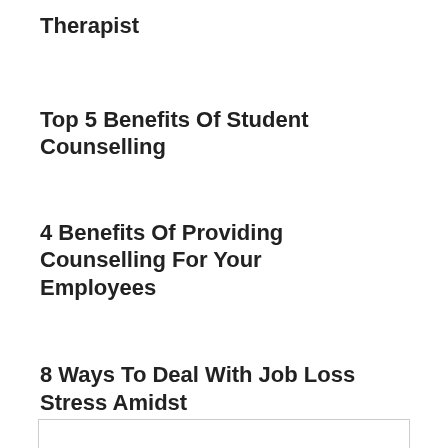Therapist
Top 5 Benefits Of Student Counselling
4 Benefits Of Providing Counselling For Your Employees
8 Ways To Deal With Job Loss Stress Amidst The Covid-19 Pandemic